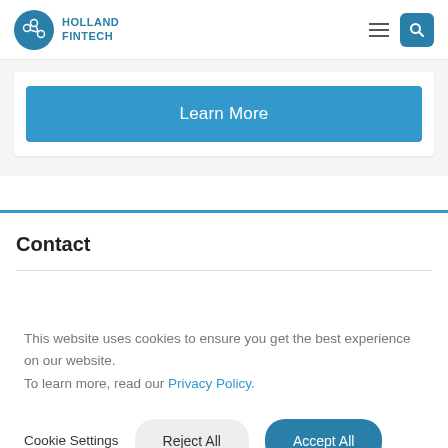Holland Fintech
Learn More
Contact
This website uses cookies to ensure you get the best experience on our website.
To learn more, read our Privacy Policy.
Cookie Settings  Reject All  Accept All